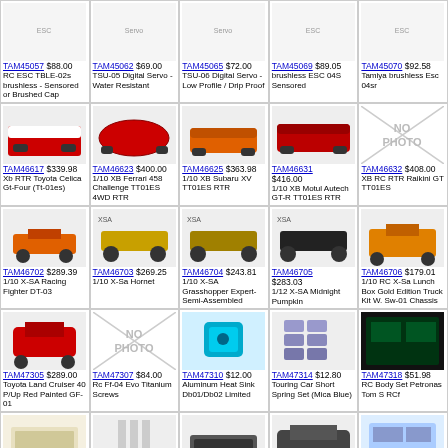| TAM45057 $88.00 RC ESC TBLE-02s brushless - Sensored or Brushed Cap | TAM45062 $69.00 TSU-05 Digital Servo - Water Resistant | TAM45065 $72.00 TSU-06 Digital Servo - Low Profile / Drip Proof | TAM45069 $89.05 brushless ESC 04S Sensored | TAM45070 $92.58 Tamiya brushless Esc 04sr |
| TAM46617 $339.98 Xb RTR Toyota Celica Gt-Four (Tt-01es) | TAM46623 $400.00 1/10 XB Ferrari 458 Challenge TT01ES 4WD RTR | TAM46625 $363.98 1/10 XB Subaru XV TT01ES RTR | TAM46631 $416.00 1/10 XB Motul Autech GT-R TT01ES RTR | TAM46632 $408.00 XB RC RTR Raikini GT TT01ES |
| TAM46702 $289.39 1/10 X-SA Racing Fighter DT-03 | TAM46703 $269.25 1/10 X-Sa Hornet | TAM46704 $243.81 1/10 X-SA Grasshopper Expert-Semi-Assembled | TAM46705 $283.03 1/12 X-SA Midnight Pumpkin | TAM46706 $179.01 1/10 RC X-Sa Lunch Box Gold Edition Truck Kit W. Sw-01 Chassis |
| TAM47305 $289.00 Toyota Land Cruiser 40 P/Up Red Painted GF-01 | TAM47307 $84.00 Rc Ff-04 Evo Titanium Screws | TAM47310 $12.00 Aluminum Heat Sink Db01/Db02 Limited | TAM47314 $12.80 Touring Car Short Spring Set (Mica Blue) | TAM47318 $51.98 RC Body Set Petronas Tom S RCf |
| TAM47323 $42.41 | TAM47325 $30.00 | TAM47326 $231.09 | TAM47329 $267.13 | TAM47335 $6.00 |